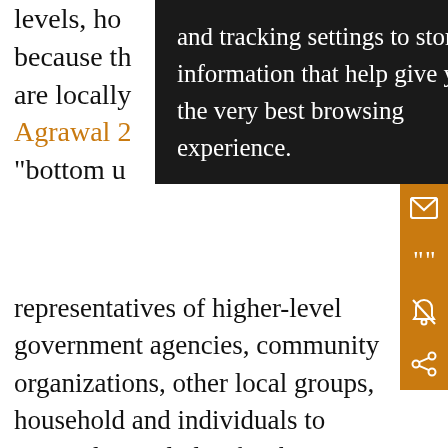levels, ho... es that because th... ility are locally... e.g., Agrawal 2... "bottom u... representatives of higher-level government agencies, community organizations, other local groups, households and individuals to respond to and plan for the impacts of climate variability and change in their locality. These local efforts will be more effective if they have access to knowledge and resources from beyond the local level and are able to coordinate with other localities and with planning and policy processes at higher levels. This paper addresses the question: What types of institutions can encourage and support effective local-level adaptation?

We explore this question both theoretically and
[Figure (other): Black tooltip/popup overlay with white text reading: 'and tracking settings to store information that help give you the very best browsing experience.']